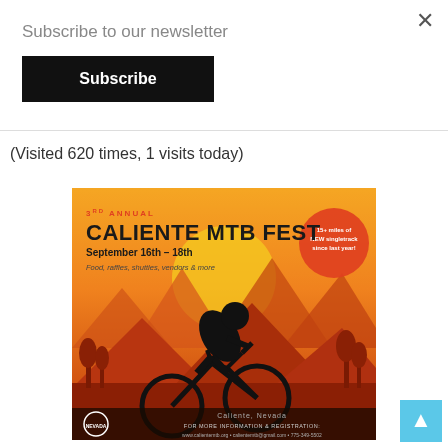×
Subscribe to our newsletter
Subscribe
(Visited 620 times, 1 visits today)
[Figure (illustration): 3rd Annual Caliente MTB Fest event flyer with orange/red gradient background showing mountain biker silhouette, mountains, and trees. Text: September 16th - 18th, Food, raffles, shuttles, vendors & more, Caliente Nevada, www.calientemtb.org, calientemtb@gmail.com, 775-349-5502]